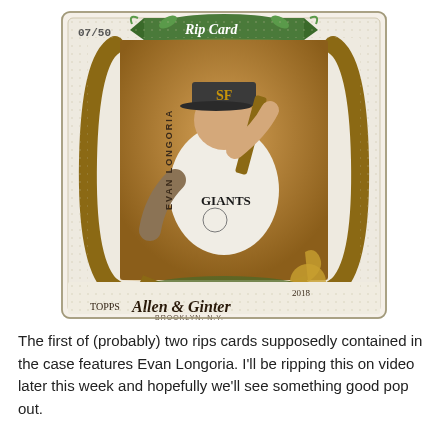[Figure (photo): 2018 Topps Allen & Ginter Rip Card numbered 07/50 featuring Evan Longoria of the San Francisco Giants. The card shows Longoria in a Giants uniform with a bat, styled in the ornate Allen & Ginter design with a scroll/banner motif and green accents at the bottom.]
The first of (probably) two rips cards supposedly contained in the case features Evan Longoria. I'll be ripping this on video later this week and hopefully we'll see something good pop out.